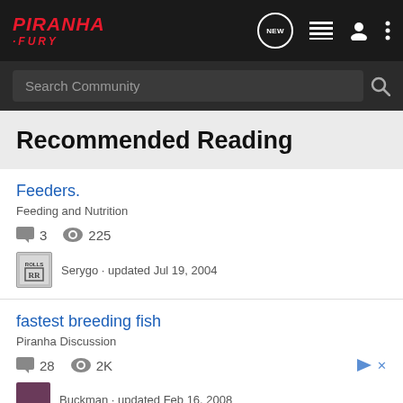PIRANHA FURY - Navigation bar with NEW, list, user, and menu icons
Search Community
Recommended Reading
Feeders.
Feeding and Nutrition
3  225
Serygo · updated Jul 19, 2004
fastest breeding fish
Piranha Discussion
28  2K
Buckman · updated Feb 16, 2008